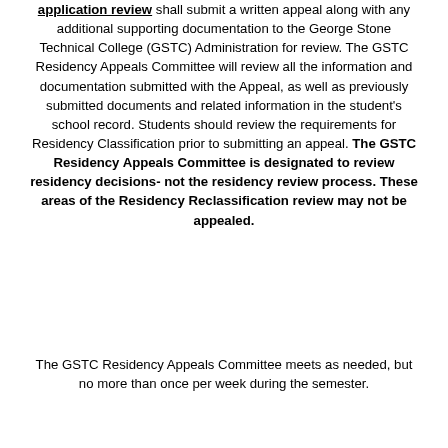application review shall submit a written appeal along with any additional supporting documentation to the George Stone Technical College (GSTC) Administration for review. The GSTC Residency Appeals Committee will review all the information and documentation submitted with the Appeal, as well as previously submitted documents and related information in the student's school record. Students should review the requirements for Residency Classification prior to submitting an appeal. The GSTC Residency Appeals Committee is designated to review residency decisions- not the residency review process. These areas of the Residency Reclassification review may not be appealed.
The GSTC Residency Appeals Committee meets as needed, but no more than once per week during the semester.